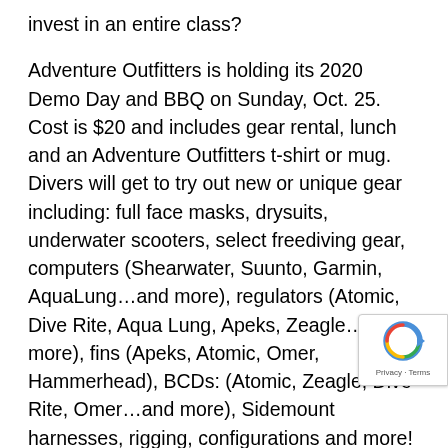invest in an entire class?
Adventure Outfitters is holding its 2020 Demo Day and BBQ on Sunday, Oct. 25. Cost is $20 and includes gear rental, lunch and an Adventure Outfitters t-shirt or mug. Divers will get to try out new or unique gear including: full face masks, drysuits, underwater scooters, select freediving gear, computers (Shearwater, Suunto, Garmin, AquaLung…and more), regulators (Atomic, Dive Rite, Aqua Lung, Apeks, Zeagle…and more), fins (Apeks, Atomic, Omer, Hammerhead), BCDs: (Atomic, Zeagle, Dive Rite, Omer…and more), Sidemount harnesses, rigging, configurations and more!
Diving Workshops:
Learn about certain types of equipment or diving by signing up for a line…and closed. Spaces are limited…